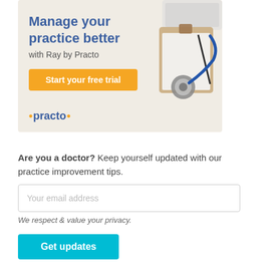[Figure (illustration): Practo Ray advertisement banner with medical items (stethoscope, clipboard, keyboard) in top-right, light wood texture background. Contains title 'Manage your practice better', subtitle 'with Ray by Practo', orange CTA button 'Start your free trial', and Practo logo.]
Are you a doctor? Keep yourself updated with our practice improvement tips.
Your email address
We respect & value your privacy.
Get updates